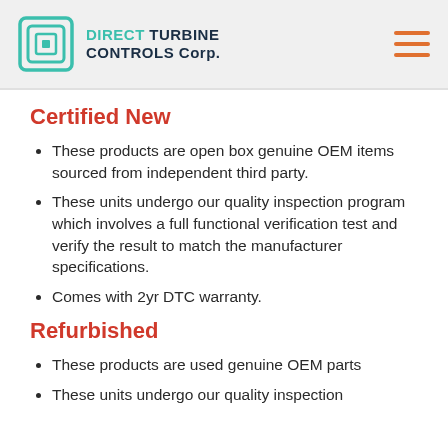[Figure (logo): Direct Turbine Controls Corp. logo with teal square icon and company name]
Certified New
These products are open box genuine OEM items sourced from independent third party.
These units undergo our quality inspection program which involves a full functional verification test and verify the result to match the manufacturer specifications.
Comes with 2yr DTC warranty.
Refurbished
These products are used genuine OEM parts
These units undergo our quality inspection